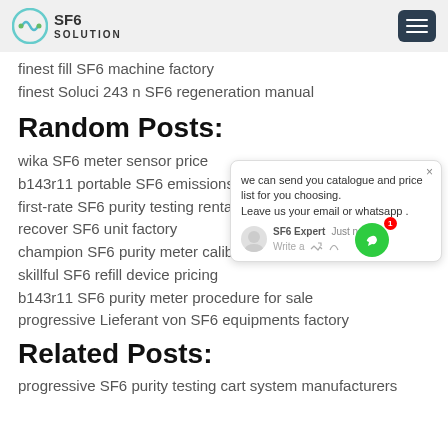SF6 SOLUTION
finest fill SF6 machine factory
finest Soluci 243 n SF6 regeneration manual
Random Posts:
wika SF6 meter sensor price
b143r11 portable SF6 emissions price
first-rate SF6 purity testing rentals manufacturers
recover SF6 unit factory
champion SF6 purity meter calibraion manufacturers
skillful SF6 refill device pricing
b143r11 SF6 purity meter procedure for sale
progressive Lieferant von SF6 equipments factory
Related Posts:
progressive SF6 purity testing cart system manufacturers